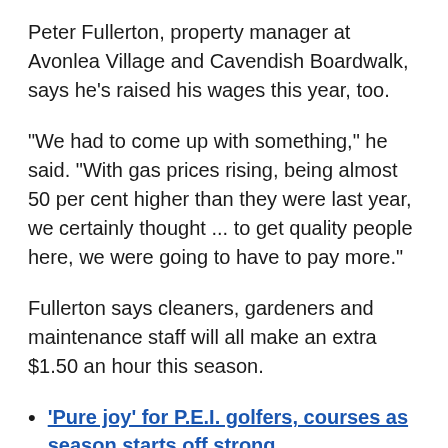Peter Fullerton, property manager at Avonlea Village and Cavendish Boardwalk, says he's raised his wages this year, too.
"We had to come up with something," he said. "With gas prices rising, being almost 50 per cent higher than they were last year, we certainly thought ... to get quality people here, we were going to have to pay more."
Fullerton says cleaners, gardeners and maintenance staff will all make an extra $1.50 an hour this season.
'Pure joy' for P.E.I. golfers, courses as season starts off strong
Charlottetown sees flurry of new restaurant openings